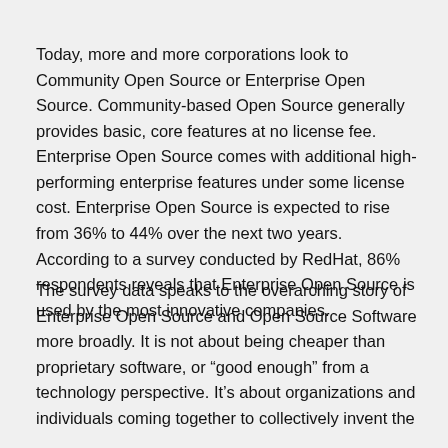Today, more and more corporations look to Community Open Source or Enterprise Open Source. Community-based Open Source generally provides basic, core features at no license fee. Enterprise Open Source comes with additional high-performing enterprise features under some license cost. Enterprise Open Source is expected to rise from 36% to 44% over the next two years. According to a survey conducted by RedHat, 86% respondents reveals that Enterprise Open Source is used by the most innovative companies.
The survey data speaks to the overarching story of Enterprise Open Source and Open Source Software more broadly. It is not about being cheaper than proprietary software, or “good enough” from a technology perspective. It’s about organizations and individuals coming together to collectively invent the